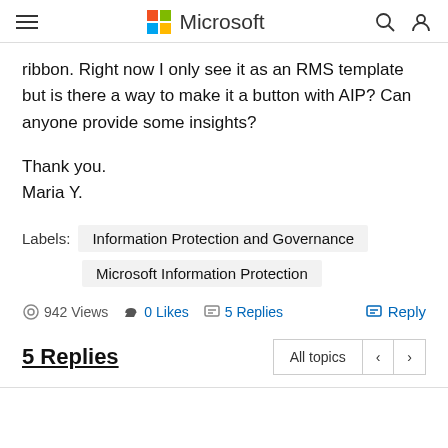Microsoft
ribbon. Right now I only see it as an RMS template but is there a way to make it a button with AIP? Can anyone provide some insights?
Thank you.
Maria Y.
Labels: Information Protection and Governance | Microsoft Information Protection
942 Views  0 Likes  5 Replies  Reply
5 Replies
All topics